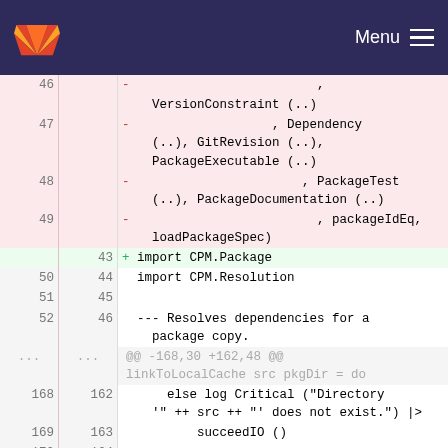GitLab — Menu
| old_ln | new_ln | code |
| --- | --- | --- |
| 46 |  | - , |
|  |  |   VersionConstraint (..) |
| 47 |  | - , Dependency (..), GitRevision (..), PackageExecutable (..) |
| 48 |  | - , PackageTest (..), PackageDocumentation (..) |
| 49 |  | - , packageIdEq, loadPackageSpec) |
|  | 43 | + import CPM.Package |
| 50 | 44 |   import CPM.Resolution |
| 51 | 45 |  |
| 52 | 46 |   --- Resolves dependencies for a package copy. |
| ... | ... | @@ -168,30 +162,48 @@ linkToLocalCache src pkgDir = do |
| 168 | 162 |       else log Critical ("Directory '" ++ src ++ "' does not exist.") |> |
| 169 | 163 |           succeedIO () |
| 170 | 164 |  |
| 171 |  |   Tries to find a package... |